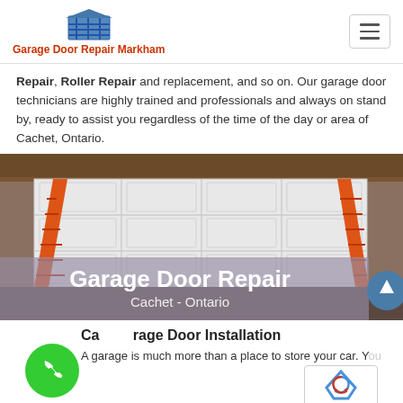Garage Door Repair Markham
Repair, Roller Repair and replacement, and so on. Our garage door technicians are highly trained and professionals and always on stand by, ready to assist you regardless of the time of the day or area of Cachet, Ontario.
[Figure (photo): Photo of a white garage door with two orange ladders on each side, with text overlay reading 'Garage Door Repair' and 'Cachet - Ontario']
Cachet Garage Door Installation
A garage is much more than a place to store your car. You